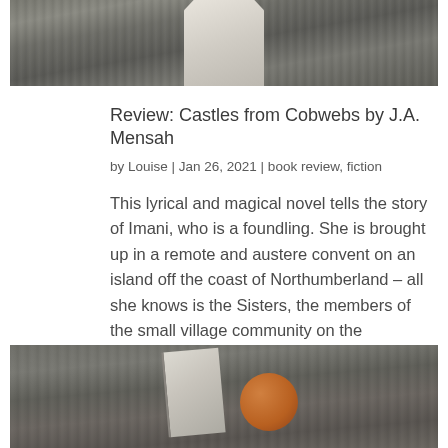[Figure (photo): Top portion of a photo showing books on a wooden surface, partially cropped at top of page]
Review: Castles from Cobwebs by J.A. Mensah
by Louise | Jan 26, 2021 | book review, fiction
This lyrical and magical novel tells the story of Imani, who is a foundling. She is brought up in a remote and austere convent on an island off the coast of Northumberland – all she knows is the Sisters, the members of the small village community on the island,...
[Figure (photo): Bottom portion showing books and an orange/copper object on a wooden surface, cropped at bottom of page]